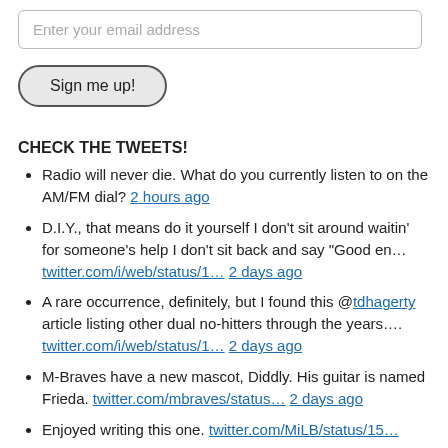[Figure (other): Email input field with placeholder text 'Enter your email address']
[Figure (other): Button labeled 'Sign me up!' with rounded border]
CHECK THE TWEETS!
Radio will never die. What do you currently listen to on the AM/FM dial? 2 hours ago
D.I.Y., that means do it yourself I don't sit around waitin' for someone's help I don't sit back and say "Good en… twitter.com/i/web/status/1… 2 days ago
A rare occurrence, definitely, but I found this @tdhagerty article listing other dual no-hitters through the years…. twitter.com/i/web/status/1… 2 days ago
M-Braves have a new mascot, Diddly. His guitar is named Frieda. twitter.com/mbraves/status… 2 days ago
Enjoyed writing this one. twitter.com/MiLB/status/15…